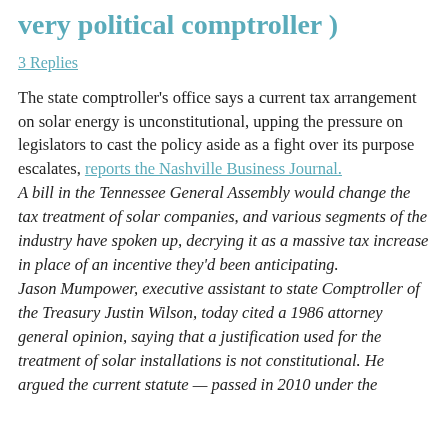very political comptroller )
3 Replies
The state comptroller's office says a current tax arrangement on solar energy is unconstitutional, upping the pressure on legislators to cast the policy aside as a fight over its purpose escalates, reports the Nashville Business Journal.
A bill in the Tennessee General Assembly would change the tax treatment of solar companies, and various segments of the industry have spoken up, decrying it as a massive tax increase in place of an incentive they'd been anticipating.
Jason Mumpower, executive assistant to state Comptroller of the Treasury Justin Wilson, today cited a 1986 attorney general opinion, saying that a justification used for the treatment of solar installations is not constitutional. He argued the current statute — passed in 2010 under the